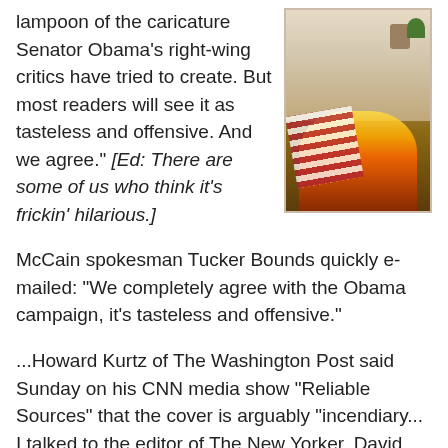lampoon of the caricature Senator Obama's right-wing critics have tried to create. But most readers will see it as tasteless and offensive. And we agree." [Ed: There are some of us who think it's frickin' hilarious.]
[Figure (photo): Photo of a fireplace with an American flag burning in it, mantelpiece visible at top]
McCain spokesman Tucker Bounds quickly e-mailed: “We completely agree with the Obama campaign, it’s tasteless and offensive.”
...Howard Kurtz of The Washington Post said Sunday on his CNN media show “Reliable Sources” that the cover is arguably "incendiary... I talked to the editor of The New Yorker, David Remnick, who tells me this is a satire, that they are making fun of all the rumors," Kurtz added.
Clarence Page of the Chicago Tribune defended it as “quite within the normal realms of journalism,” adding that “it’s just lampooning all